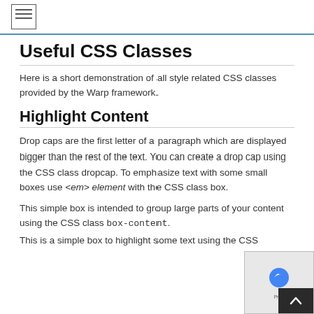≡
Useful CSS Classes
Here is a short demonstration of all style related CSS classes provided by the Warp framework.
Highlight Content
Drop caps are the first letter of a paragraph which are displayed bigger than the rest of the text. You can create a drop cap using the CSS class dropcap. To emphasize text with some small boxes use <em> element with the CSS class box.
This simple box is intended to group large parts of your content using the CSS class box-content.
This is a simple box to highlight some text using the CSS